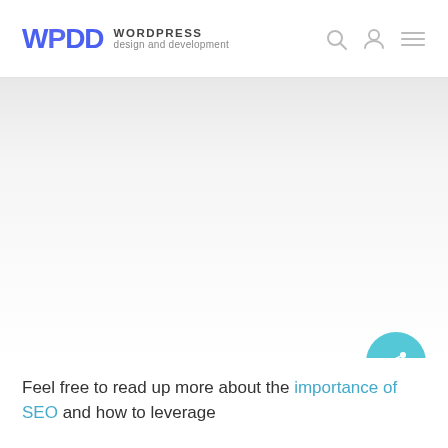WPDD WORDPRESS design and development
[Figure (other): Large gray-to-white gradient hero image area, mostly white/light gray, occupying the main center portion of the page.]
[Figure (other): Circular teal share button with share/network icon in white, positioned bottom-right.]
Feel free to read up more about the importance of SEO and how to leverage